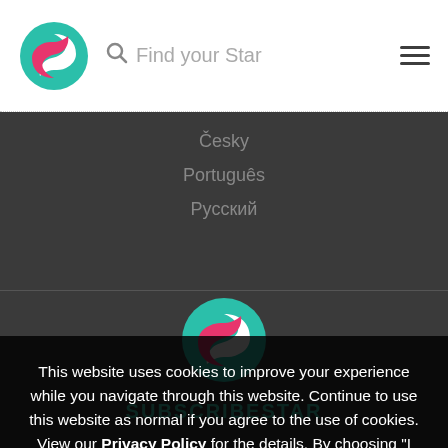[Figure (logo): SubscribeStar teal and pink circular logo in header]
Find your Star
[Figure (logo): Hamburger menu icon (three horizontal lines)]
Česky
Português
Русский
[Figure (logo): SubscribeStar large teal and pink circular logo centered on dark background]
SUBSCRIBESTAR
This website uses cookies to improve your experience while you navigate through this website. Continue to use this website as normal if you agree to the use of cookies. View our Privacy Policy for the details. By choosing "I Accept", you consent to our use of cookies.
I Accept